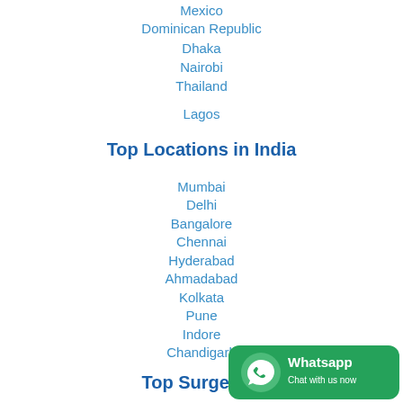Mexico
Dominican Republic
Dhaka
Nairobi
Thailand
Lagos
Top Locations in India
Mumbai
Delhi
Bangalore
Chennai
Hyderabad
Ahmadabad
Kolkata
Pune
Indore
Chandigarh
Top Surgeries
[Figure (infographic): WhatsApp Chat with us now badge]